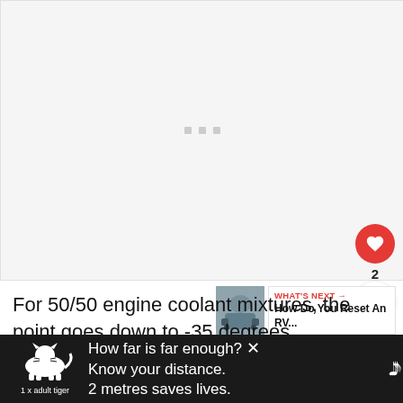[Figure (photo): Large image placeholder area with light gray background and three small gray squares in the center. A red heart/like button (count: 2) and a share button are overlaid on the right side.]
For 50/50 engine coolant mixtures, the point goes down to -35 degrees Fahrenheit, while if the mixture is 70% antifreeze and 30% water, the fre
[Figure (photo): Small thumbnail image for 'What's Next' sidebar showing an RV-related photo.]
WHAT'S NEXT → How Do You Reset An RV...
[Figure (infographic): Ad banner with tiger illustration. Text: 'How far is far enough? Know your distance. 2 metres saves lives.' with 1 x adult tiger label and brand logo.]